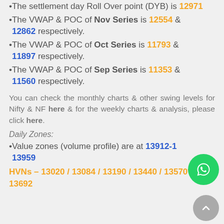The settlement day Roll Over point (DYB) is 12971
The VWAP & POC of Nov Series is 12554 & 12862 respectively.
The VWAP & POC of Oct Series is 11793 & 11897 respectively.
The VWAP & POC of Sep Series is 11353 & 11560 respectively.
You can check the monthly charts & other swing levels for Nifty & NF here & for the weekly charts & analysis, please click here.
Daily Zones:
Value zones (volume profile) are at 13912-13959
HVNs – 13020 / 13084 / 13190 / 13440 / 13570* / 13692